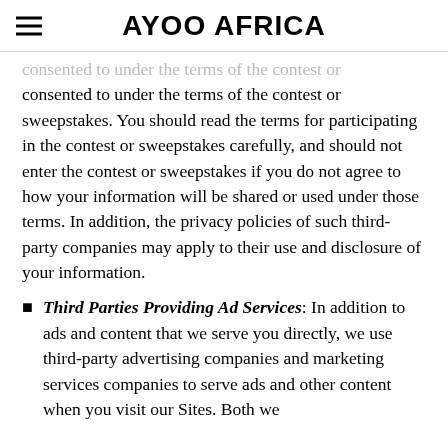AYOO AFRICA
consented to under the terms of the contest or sweepstakes. You should read the terms for participating in the contest or sweepstakes carefully, and should not enter the contest or sweepstakes if you do not agree to how your information will be shared or used under those terms. In addition, the privacy policies of such third-party companies may apply to their use and disclosure of your information.
Third Parties Providing Ad Services: In addition to ads and content that we serve you directly, we use third-party advertising companies and marketing services companies to serve ads and other content when you visit our Sites. Both we and these companies may collect and use...